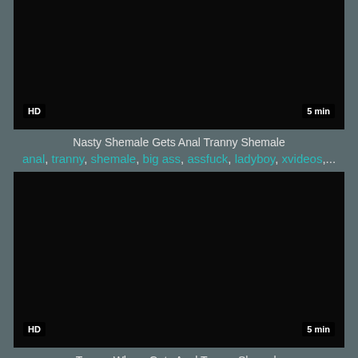[Figure (screenshot): Black video thumbnail with HD badge bottom-left and '5 min' badge bottom-right]
Nasty Shemale Gets Anal Tranny Shemale
anal, tranny, shemale, big ass, assfuck, ladyboy, xvideos,...
[Figure (screenshot): Black video thumbnail with HD badge bottom-left and '5 min' badge bottom-right]
Tranny Whore Gets Anal Tranny Shemale